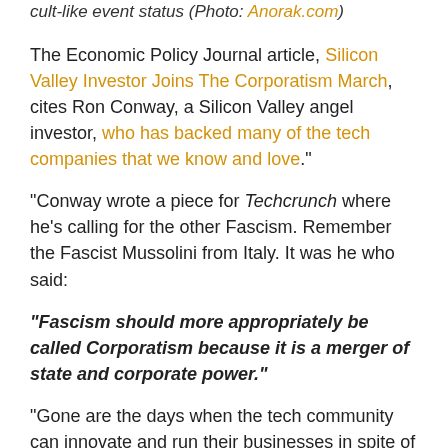cult-like event status (Photo: Anorak.com)
The Economic Policy Journal article, Silicon Valley Investor Joins The Corporatism March, cites Ron Conway, a Silicon Valley angel investor, who has backed many of the tech companies that we know and love."
"Conway wrote a piece for Techcrunch where he's calling for the other Fascism. Remember the Fascist Mussolini from Italy. It was he who said:
“Fascism should more appropriately be called Corporatism because it is a merger of state and corporate power.”
“Gone are the days when the tech community can innovate and run their businesses in spite of government. As we saw with the SOPA/PIPA debate, public policy has a direct and significant impact on start-ups and the investors who support them.
Whether it is regulations that stifle innovation or tax policies that